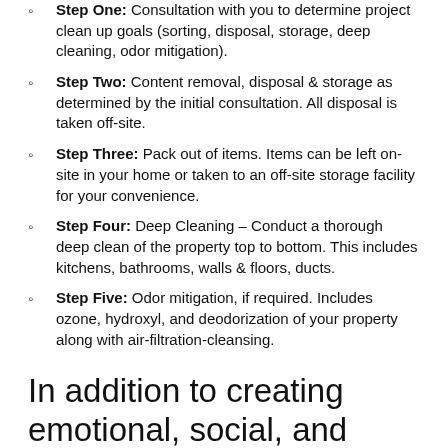Step One:  Consultation with you to determine project clean up goals (sorting, disposal, storage, deep cleaning, odor mitigation).
Step Two:  Content removal, disposal & storage as determined by the initial consultation. All disposal is taken off-site.
Step Three:  Pack out of items.  Items can be left on-site in your home or taken to an off-site storage facility for your convenience.
Step Four:  Deep Cleaning – Conduct a thorough deep clean of the property top to bottom. This includes kitchens, bathrooms, walls & floors, ducts.
Step Five:  Odor mitigation, if required. Includes ozone, hydroxyl, and deodorization of your property along with air-filtration-cleansing.
In addition to creating emotional, social, and mental havoc, hoarding causes a host of physical dangers.